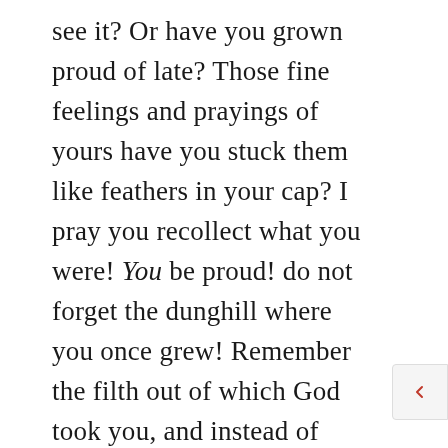see it? Or have you grown proud of late? Those fine feelings and prayings of yours have you stuck them like feathers in your cap? I pray you recollect what you were! You be proud! do not forget the dunghill where you once grew! Remember the filth out of which God took you, and instead of being scarlet with the garments of pride, your cheeks may well be scarlet with a blush! Oh! may God forbid, once for all, that we should glory, for what have we to glory in? What have we that we have not received?